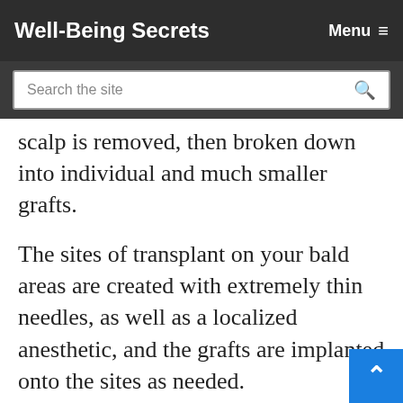Well-Being Secrets   Menu ≡
Search the site
scalp is removed, then broken down into individual and much smaller grafts.
The sites of transplant on your bald areas are created with extremely thin needles, as well as a localized anesthetic, and the grafts are implanted onto the sites as needed.
Follicular unit transplantation is generally recommended if your balding area is vastly la… due to the fact that your surgeon will need to…